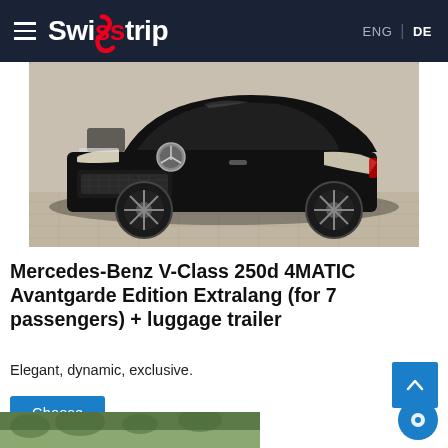Swisstrip  ENG | DE
[Figure (photo): Black Mercedes-Benz V-Class parked on a cobblestone surface, front three-quarter view showing the distinctive star emblem and headlights]
Mercedes-Benz V-Class 250d 4MATIC Avantgarde Edition Extralang (for 7 passengers) + luggage trailer
Elegant, dynamic, exclusive.
Choose
[Figure (photo): Partial view of another vehicle, greenery visible in background — bottom strip]